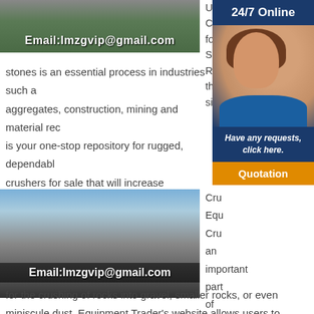[Figure (photo): Industrial machinery/crusher facility interior with green floor, Email:lmzgvip@gmail.com overlay text]
Used Crushers for Sale. Reducing the size
[Figure (infographic): 24/7 Online customer service panel with woman wearing headset, Have any requests, click here. and Quotation button]
stones is an essential process in industries such as aggregates, construction, mining and material re... is your one-stop repository for rugged, dependabl... crushers for sale that will increase productivity an... job sites.
[Figure (photo): Large mobile crusher/screening plant equipment outdoors, Email:lmzgvip@gmail.com overlay]
Cru... Equ... Cru... an important part of many industrial and materials processing projects. They allow for the crushing of rocks into gravel, smaller rocks, or even miniscule dust. Equipment Trader's website allows users to quickly